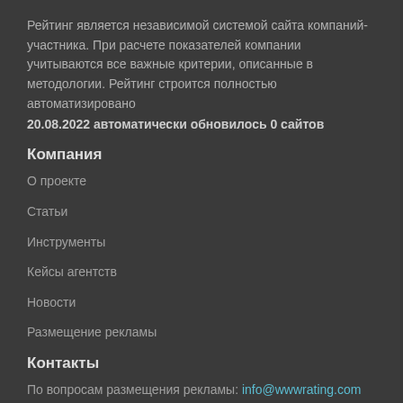Рейтинг является независимой системой сайта компаний-участника. При расчете показателей компании учитываются все важные критерии, описанные в методологии. Рейтинг строится полностью автоматизировано
20.08.2022 автоматически обновилось 0 сайтов
Компания
О проекте
Статьи
Инструменты
Кейсы агентств
Новости
Размещение рекламы
Контакты
По вопросам размещения рекламы: info@wwwrating.com